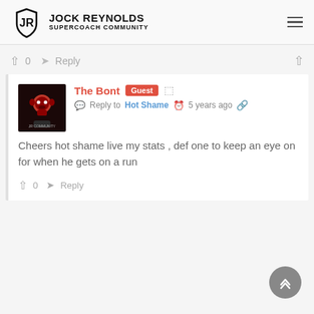Jock Reynolds Supercoach Community
0  Reply
The Bont  Guest
Reply to Hot Shame  5 years ago
Cheers hot shame live my stats , def one to keep an eye on for when he gets on a run
0  Reply